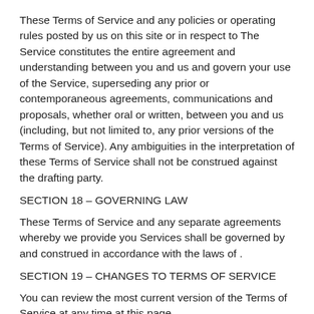These Terms of Service and any policies or operating rules posted by us on this site or in respect to The Service constitutes the entire agreement and understanding between you and us and govern your use of the Service, superseding any prior or contemporaneous agreements, communications and proposals, whether oral or written, between you and us (including, but not limited to, any prior versions of the Terms of Service). Any ambiguities in the interpretation of these Terms of Service shall not be construed against the drafting party.
SECTION 18 – GOVERNING LAW
These Terms of Service and any separate agreements whereby we provide you Services shall be governed by and construed in accordance with the laws of .
SECTION 19 – CHANGES TO TERMS OF SERVICE
You can review the most current version of the Terms of Service at any time at this page.